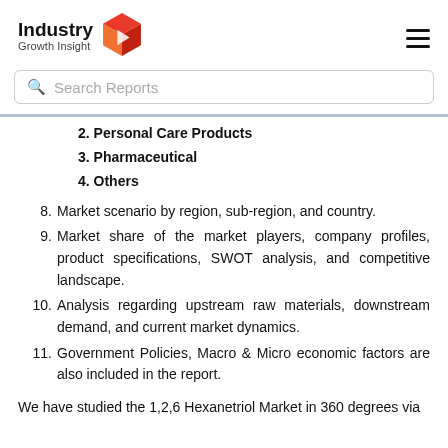Industry Growth Insight
2. Personal Care Products
3. Pharmaceutical
4. Others
8. Market scenario by region, sub-region, and country.
9. Market share of the market players, company profiles, product specifications, SWOT analysis, and competitive landscape.
10. Analysis regarding upstream raw materials, downstream demand, and current market dynamics.
11. Government Policies, Macro & Micro economic factors are also included in the report.
We have studied the 1,2,6 Hexanetriol Market in 360 degrees via